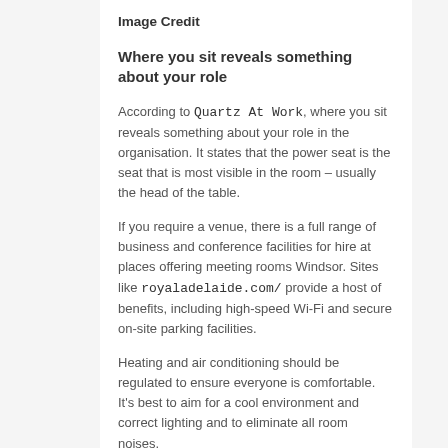Image Credit
Where you sit reveals something about your role
According to Quartz At Work, where you sit reveals something about your role in the organisation. It states that the power seat is the seat that is most visible in the room – usually the head of the table.
If you require a venue, there is a full range of business and conference facilities for hire at places offering meeting rooms Windsor. Sites like royaladelaide.com/ provide a host of benefits, including high-speed Wi-Fi and secure on-site parking facilities.
Heating and air conditioning should be regulated to ensure everyone is comfortable. It's best to aim for a cool environment and correct lighting and to eliminate all room noises.
Providing name cards for guests, taking